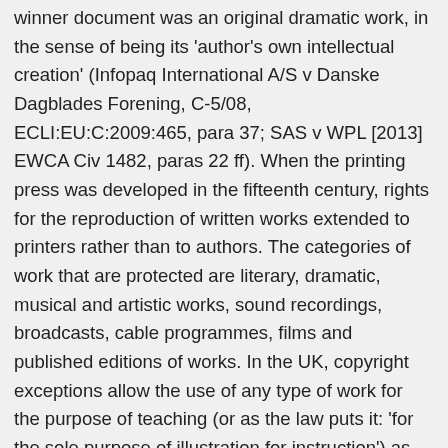winner document was an original dramatic work, in the sense of being its 'author's own intellectual creation' (Infopaq International A/S v Danske Dagblades Forening, C-5/08, ECLI:EU:C:2009:465, para 37; SAS v WPL [2013] EWCA Civ 1482, paras 22 ff). When the printing press was developed in the fifteenth century, rights for the reproduction of written works extended to printers rather than to authors. The categories of work that are protected are literary, dramatic, musical and artistic works, sound recordings, broadcasts, cable programmes, films and published editions of works. In the UK, copyright exceptions allow the use of any type of work for the purpose of teaching (or as the law puts it: 'for the sole purpose of illustration for instruction') as well as performing, playing or showing literary, dramatic or musical works in the course of activities of an educational establishment. Dramatic work includes a work of dance or mime. Music copyright length under UK copyright law. Musical work means any work consisting of music. It only protects the expression of ideas in any of the categories mentioned above. I would define a dramatic work as